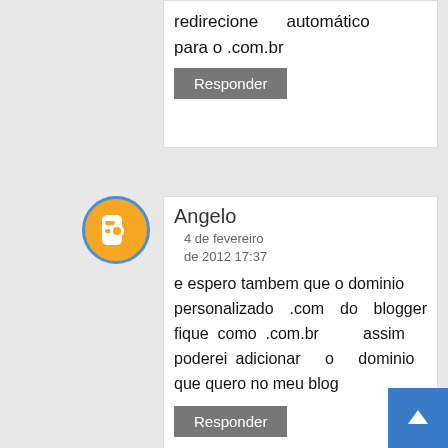redirecione automaticamente para o .com.br
Responder
Angelo
4 de fevereiro de 2012 17:37
e espero tambem que o dominio personalizado .com do blogger fique como .com.br assim poderei adicionar o dominio que quero no meu blog
Responder
Luma Rosa
18 de fevereiro de 2012 00:31
Acho corretíssima a atitude do google, afinal os criminosos virtuais, devem responder por suas